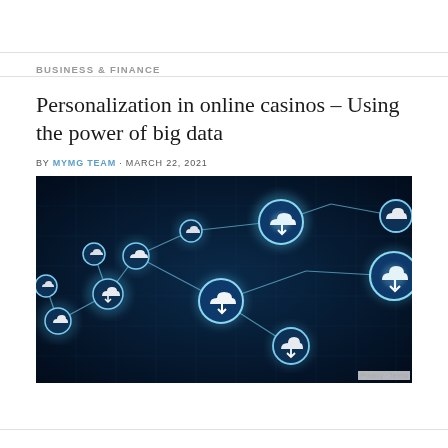BUSINESS & FINANCE
Personalization in online casinos – Using the power of big data
BY MYMG TEAM · MARCH 22, 2021
[Figure (photo): Network of connected cloud upload icons on a dark blue digital background, representing big data and cloud connectivity]
Privacy · Terms